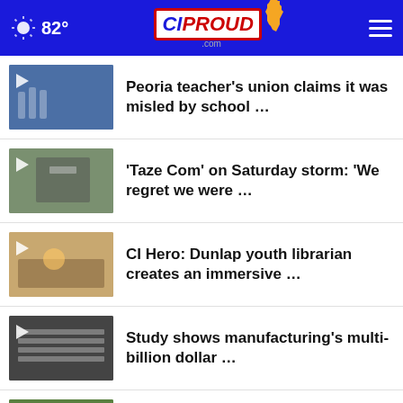82° CIProud.com
Peoria teacher's union claims it was misled by school …
'Taze Com' on Saturday storm: 'We regret we were …
CI Hero: Dunlap youth librarian creates an immersive …
Study shows manufacturing's multi-billion dollar …
CI Hero: Volunteers help Fulton County shelter animals …
Local health leaders remind parents of back-to-school …